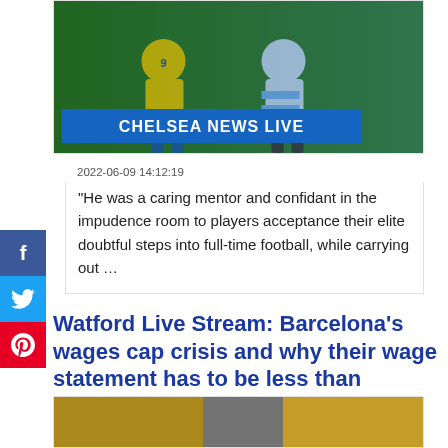[Figure (photo): Photo of football players with 'CHELSEA NEWS LIVE' blue banner overlay]
2022-06-09 14:12:19
“He was a caring mentor and confidant in the impudence room to players acceptance their elite doubtful steps into full-time football, while carrying out …
Watford Live Stream: Barcelona's wages cap crisis and why their wage statement has to be less than Watford's – The Mirror
[Figure (photo): Partial photo visible at bottom of page, appears to be sports/crowd image]